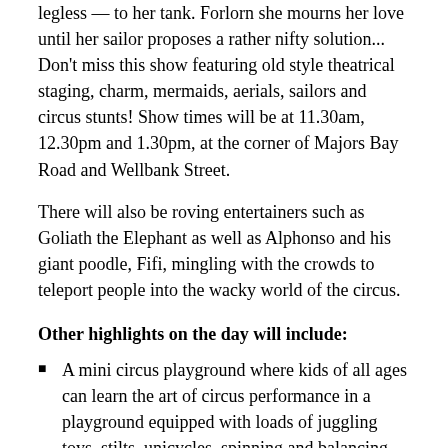legless — to her tank. Forlorn she mourns her love until her sailor proposes a rather nifty solution... Don't miss this show featuring old style theatrical staging, charm, mermaids, aerials, sailors and circus stunts! Show times will be at 11.30am, 12.30pm and 1.30pm, at the corner of Majors Bay Road and Wellbank Street.
There will also be roving entertainers such as Goliath the Elephant as well as Alphonso and his giant poodle, Fifi, mingling with the crowds to teleport people into the wacky world of the circus.
Other highlights on the day will include:
A mini circus playground where kids of all ages can learn the art of circus performance in a playground equipped with loads of juggling toys, stilts, unicycles, spinning and balancing things.
Performances from the talented local Concord High School Band and Belinda's Art of Dance School.
Kitchen demonstrations with celebrity cook Alice